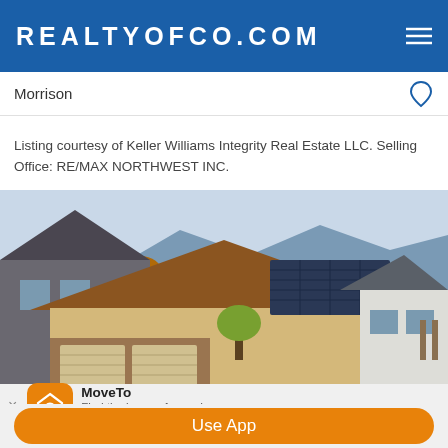REALTYOFCO.COM
Morrison
Listing courtesy of Keller Williams Integrity Real Estate LLC. Selling Office: RE/MAX NORTHWEST INC.
[Figure (photo): Exterior photo of a residential home with brown/tan roof with solar panels, two-car garage, brick facade, white siding on adjacent structure, with mountains and autumn trees in background under a light sky.]
MoveTo
Find the home of your dreams.
★★★★☆
Use App